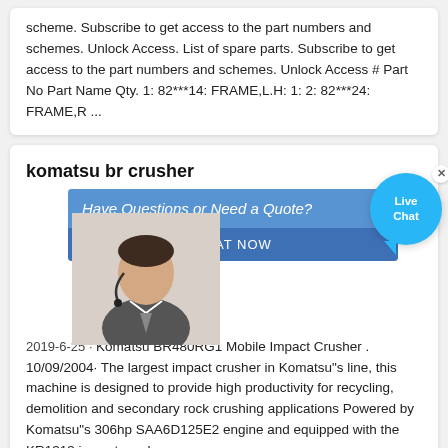scheme. Subscribe to get access to the part numbers and schemes. Unlock Access. List of spare parts. Subscribe to get access to the part numbers and schemes. Unlock Access # Part No Part Name Qty. 1: 82***14: FRAME,L.H: 1: 2: 82***24: FRAME,R ...
komatsu br crusher
2019-6-25 · Komatsu BR480RG1 Mobile Impact Crusher . 10/09/2004· The largest impact crusher in Komatsu"s line, this machine is designed to provide high productivity for recycling, demolition and secondary rock crushing applications Powered by Komatsu"s 306hp SAA6D125E2 engine and equipped with the KR1313 impact crusher
Komatsu Mobile Crusher BR380JG-3
Eco-friendly performance moving to a new stage. The